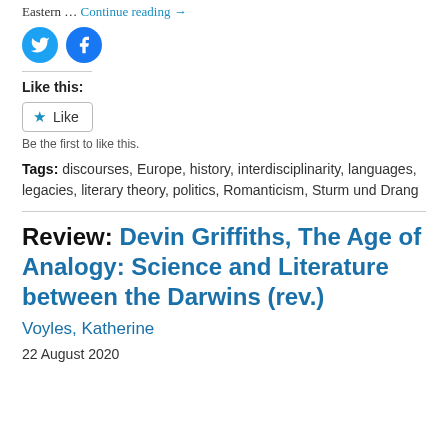Eastern … Continue reading →
[Figure (other): Twitter and Facebook social share icon buttons (circular blue icons)]
Like this:
[Figure (other): Like button widget with star icon]
Be the first to like this.
Tags: discourses, Europe, history, interdisciplinarity, languages, legacies, literary theory, politics, Romanticism, Sturm und Drang
Review: Devin Griffiths, The Age of Analogy: Science and Literature between the Darwins (rev.)
Voyles, Katherine
22 August 2020